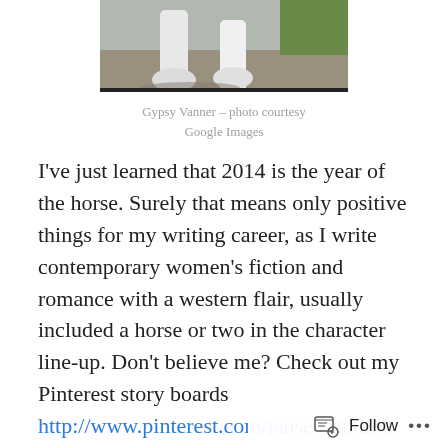[Figure (photo): Partial photo of a Gypsy Vanner horse showing its feathered legs and hooves on a gravel path with green grass in background]
Gypsy Vanner – photo courtesy Google Images
I've just learned that 2014 is the year of the horse. Surely that means only positive things for my writing career, as I write contemporary women's fiction and romance with a western flair, usually included a horse or two in the character line-up. Don't believe me? Check out my Pinterest story boards http://www.pinterest.com/jansenschmidt/
If you were fortunate enough to have parents who procreated at exactly the right time to ensure your birth in